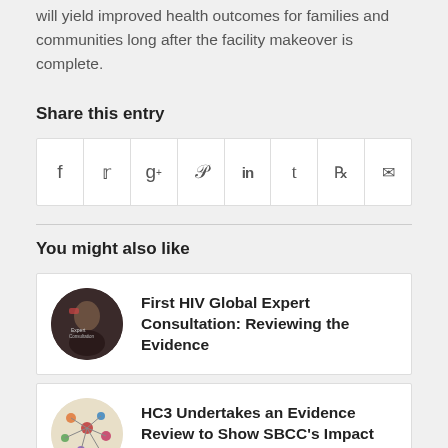will yield improved health outcomes for families and communities long after the facility makeover is complete.
Share this entry
[Figure (other): Social sharing icon bar with icons for Facebook, Twitter, Google+, Pinterest, LinkedIn, Tumblr, Reddit, and Email]
You might also like
[Figure (other): Card with circular thumbnail photo of a person and title: First HIV Global Expert Consultation: Reviewing the Evidence]
[Figure (other): Card with circular thumbnail infographic image and title: HC3 Undertakes an Evidence Review to Show SBCC's Impact on HIV Prevention]